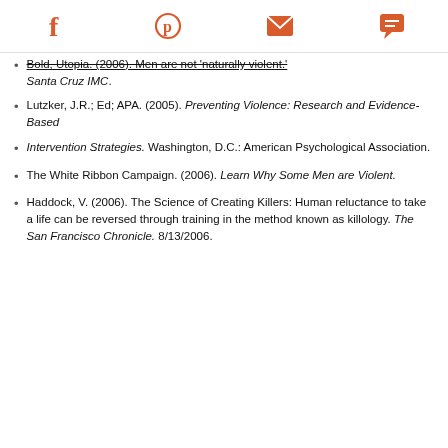[Social share icons: Facebook, Pinterest, Email, Chat]
Bold, Utopia. (2006). Men are not 'naturally violent.' Santa Cruz IMC.
Lutzker, J.R.; Ed; APA. (2005). Preventing Violence: Research and Evidence-Based
Intervention Strategies. Washington, D.C.: American Psychological Association.
The White Ribbon Campaign. (2006). Learn Why Some Men are Violent.
Haddock, V. (2006). The Science of Creating Killers: Human reluctance to take a life can be reversed through training in the method known as killology. The San Francisco Chronicle. 8/13/2006.